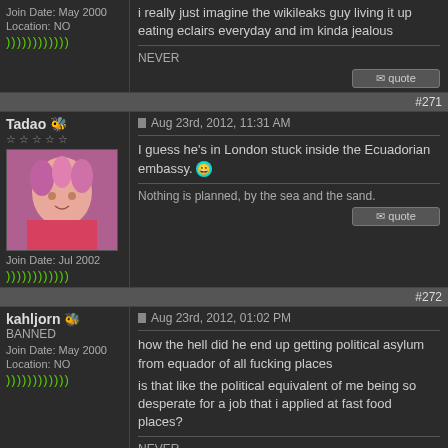Join Date: May 2000
Location: NO
i really just imagine the wikileaks guy living it up eating eclairs everyday and im kinda jealous
NEVER
#271
Tadao
Aug 23rd, 2012, 11:31 AM
I guess he's in London stuck inside the Ecuadorian embassy.
Nothing is planned, by the sea and the sand.
Join Date: Jul 2002
#272
kahljorn
BANNED
Join Date: May 2000
Location: NO
Aug 23rd, 2012, 01:02 PM
how the hell did he end up getting political asylum from equador of all fucking places
is that like the political equivalent of me being so desperate for a job that i applied at fast food places?
NEVER